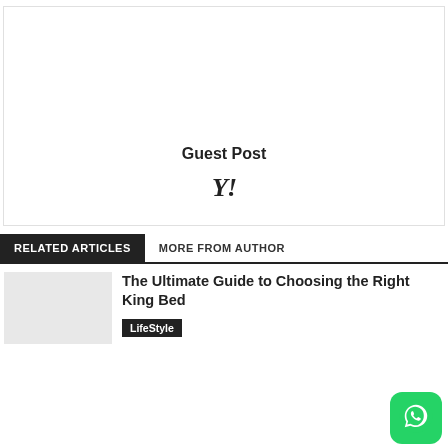[Figure (other): Advertisement box with 'Guest Post' text and Yahoo! logo]
RELATED ARTICLES   MORE FROM AUTHOR
The Ultimate Guide to Choosing the Right King Bed
LifeStyle